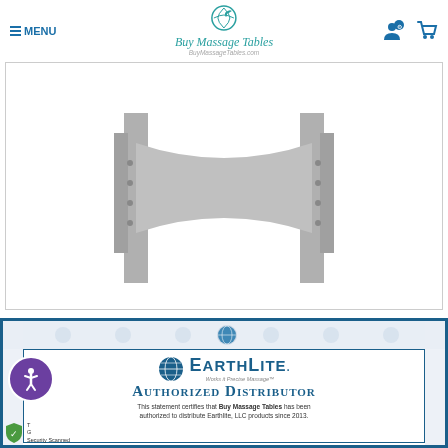[Figure (screenshot): Website header for BuyMassageTables.com showing menu button, logo with globe icon and stylized text, user account icon, and shopping cart icon]
[Figure (illustration): Product image showing a massage table end panel / stretcher bar assembly viewed from the end, depicted in gray on white background with a light border frame]
[Figure (other): EarthLite Authorized Distributor certificate with decorative border, globe logo, EarthLite brand name, and text stating 'This statement certifies that Buy Massage Tables has been authorized to distribute Earthlite, LLC products since 2013.']
[Figure (other): Accessibility badge (purple circle with person icon) and security scanned badge at bottom left]
This statement certifies that Buy Massage Tables has been authorized to distribute Earthlite, LLC products since 2013.